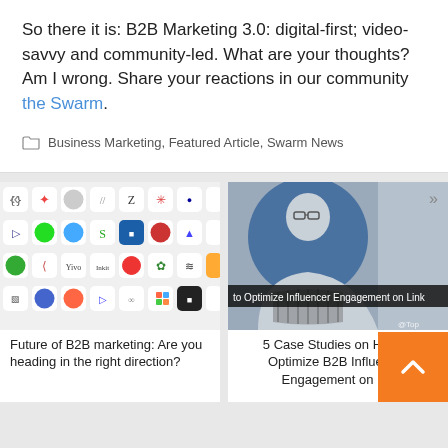So there it is: B2B Marketing 3.0: digital-first; video-savvy and community-led. What are your thoughts? Am I wrong. Share your reactions in our community the Swarm.
Business Marketing, Featured Article, Swarm News
[Figure (screenshot): Grid of app/integration logos on a light background]
Future of B2B marketing: Are you heading in the right direction?
[Figure (photo): Woman with glasses smiling with arms crossed, blue-tinted photo, with overlay text: to Optimize Influencer Engagement on Link]
5 Case Studies on How to Optimize B2B Influencer Engagement on Lin